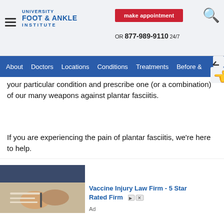UNIVERSITY FOOT & ANKLE INSTITUTE | make appointment | OR 877-989-9110 24/7
About  Doctors  Locations  Conditions  Treatments  Before &
your particular condition and prescribe one (or a combination) of our many weapons against plantar fasciitis.
If you are experiencing the pain of plantar fasciitis, we're here to help.
Our nationally recognized podiatrists and foot and ankle specialists offer the most advanced foot and ankle care along with the highest success rates in the nation. We are leaders in the field of research and treatment of all foot and ankle conditions.
[Figure (screenshot): Advertisement overlay at the bottom of the page showing an image of hands signing a document, with text 'Vaccine Injury Law Firm - 5 Star Rated Firm' and an 'Ad' label. An accessibility icon (person in circle) is visible on the left.]